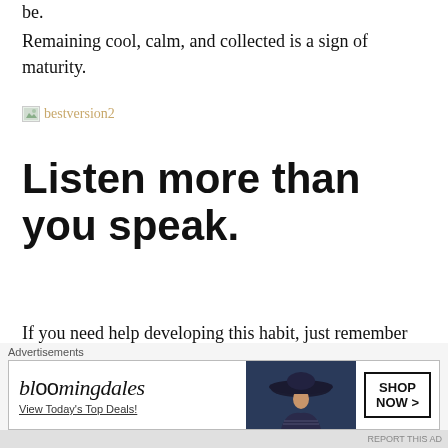be.
Remaining cool, calm, and collected is a sign of maturity.
[Figure (illustration): Broken image placeholder labeled 'bestversion2' with small image icon]
Listen more than you speak.
If you need help developing this habit, just remember that you have two ears and one mouth, so you should listen twice as much as you speak. Not only will this give you the ability to absorb and learn more from the
[Figure (infographic): Bloomingdale's advertisement banner: 'View Today's Top Deals!' with Shop Now button and woman in hat image]